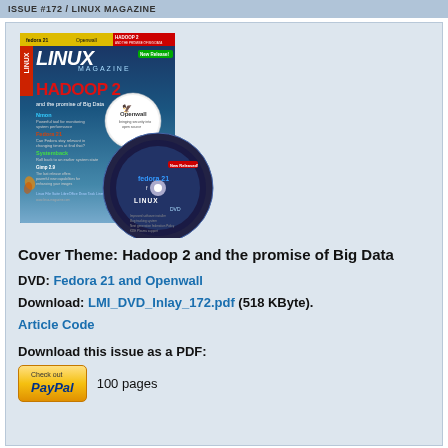ISSUE #172 / LINUX MAGAZINE
[Figure (illustration): Linux Magazine issue #172 cover featuring Hadoop 2 and the promise of Big Data, with Fedora 21 and Openwall DVD inlay disc overlay]
Cover Theme: Hadoop 2 and the promise of Big Data
DVD: Fedora 21 and Openwall
Download: LMI_DVD_Inlay_172.pdf (518 KByte).
Article Code
Download this issue as a PDF:
Check out PayPal   100 pages